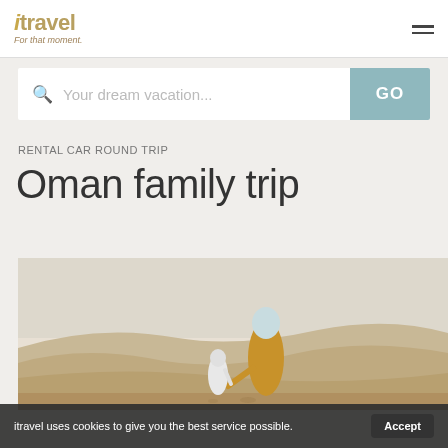itravel — For that moment.
Your dream vacation...
RENTAL CAR ROUND TRIP
Oman family trip
[Figure (photo): Person in traditional dress holding child's hand walking across sand dunes in Oman desert]
itravel uses cookies to give you the best service possible.  Accept